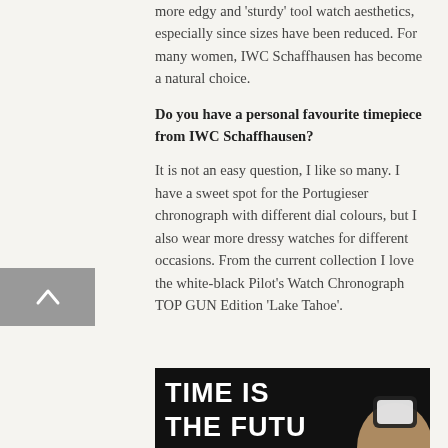more edgy and 'sturdy' tool watch aesthetics, especially since sizes have been reduced. For many women, IWC Schaffhausen has become a natural choice.
Do you have a personal favourite timepiece from IWC Schaffhausen?
It is not an easy question, I like so many. I have a sweet spot for the Portugieser chronograph with different dial colours, but I also wear more dressy watches for different occasions. From the current collection I love the white-black Pilot's Watch Chronograph TOP GUN Edition 'Lake Tahoe'.
[Figure (photo): A dark background photo showing text 'TIME IS THE FUTU[RE]' in large bold white letters, with a hand holding what appears to be a watch visible on the right side.]